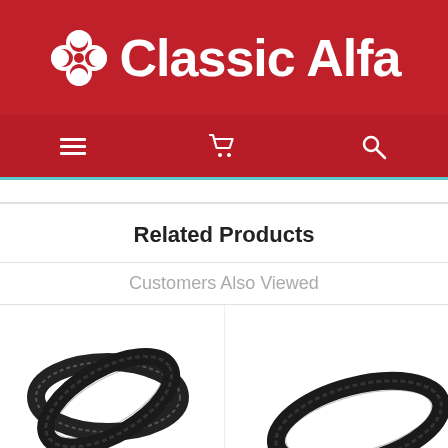[Figure (logo): Classic Alfa logo with four-leaf clover icon and white text on red background]
[Figure (screenshot): Navigation bar with hamburger menu, shopping cart icon, and search icon on dark red background]
Related Products
Customers Also Viewed
[Figure (photo): Two automotive drive belts (V-belts) shown side by side with Classic Alfa watermark]